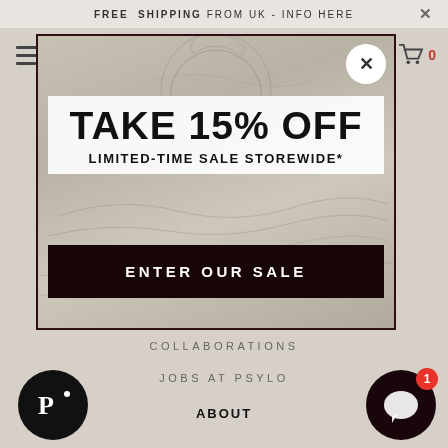FREE SHIPPING FROM UK - INFO HERE
[Figure (screenshot): Popup modal with map background showing a sale promotion for Psylo store]
TAKE 15% OFF
LIMITED-TIME SALE STOREWIDE*
ENTER OUR SALE
COLLABORATIONS
JOBS AT PSYLO
ABOUT
[Figure (logo): Psylo brand logo, white P on dark circle, bottom left]
[Figure (other): Chat widget button with badge showing 1, bottom right]